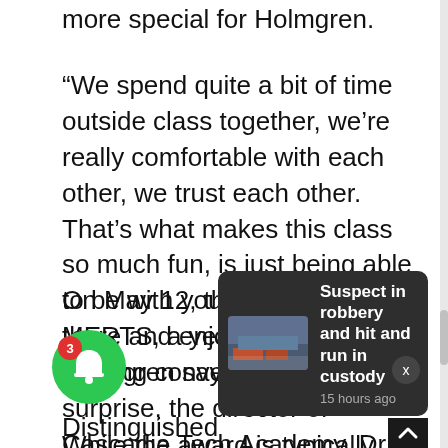more special for Holmgren.
“We spend quite a bit of time outside class together, we’re really comfortable with each other, we trust each other. That’s what makes this class so much fun, is just being able to be with your brothers out there and enjoy it with them,” Holmgren says.
On May 12, the cadets were at MERTS, a year-end fire-training convention. To their surprise, the director of Cascadia Tech Academy, Dr. Mark Mansell, attended the closing ceremony and took the floor at th
Distinguished
While the award is typically presented at the
[Figure (screenshot): Notification popup overlay showing headline 'Suspect in robbery and hit and run in custody' with timestamp '15 hours ago' and a thumbnail image of a building]
[Figure (infographic): Green circle notification bell icon with red badge showing number 3]